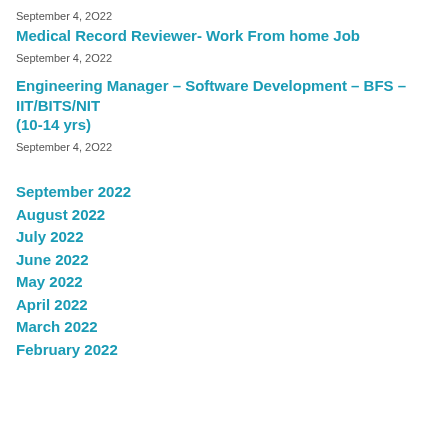September 4, 2022
Medical Record Reviewer- Work From home Job
September 4, 2022
Engineering Manager – Software Development – BFS – IIT/BITS/NIT (10-14 yrs)
September 4, 2022
September 2022
August 2022
July 2022
June 2022
May 2022
April 2022
March 2022
February 2022